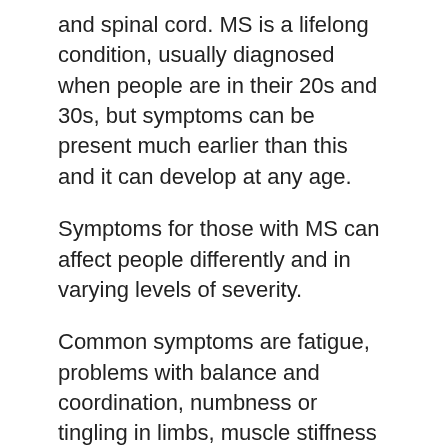and spinal cord. MS is a lifelong condition, usually diagnosed when people are in their 20s and 30s, but symptoms can be present much earlier than this and it can develop at any age.
Symptoms for those with MS can affect people differently and in varying levels of severity.
Common symptoms are fatigue, problems with balance and coordination, numbness or tingling in limbs, muscle stiffness and spasms, cognitive difficulties, vision problems, and difficulties with bladder control.
People with MS can benefit from adjustments to their home and working spaces to continue living independently and with more freedom.